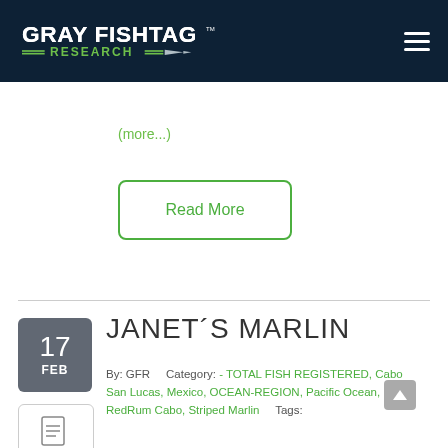[Figure (logo): Gray Fishtag Research logo — white text on dark navy background with green underline and arrow graphic]
(more...)
Read More
JANET´S MARLIN
By: GFR    Category: - TOTAL FISH REGISTERED, Cabo San Lucas, Mexico, OCEAN-REGION, Pacific Ocean, RedRum Cabo, Striped Marlin    Tags: #AFTCO, #CaboSanLucas, #CostaDelMar, #Mexico